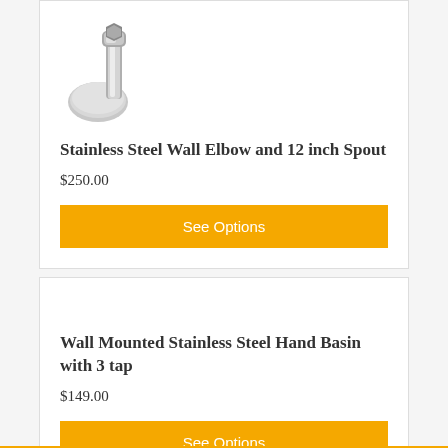[Figure (photo): Stainless steel wall elbow and spout product photo showing a chrome wall-mounted elbow pipe fitting with spout]
Stainless Steel Wall Elbow and 12 inch Spout
$250.00
See Options
Wall Mounted Stainless Steel Hand Basin with 3 tap
$149.00
See Options